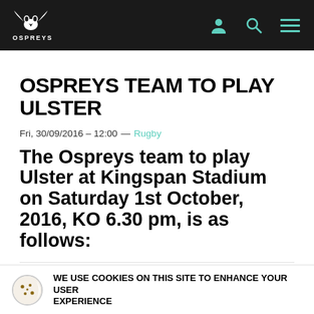Ospreys navigation bar with logo, user icon, search icon, menu icon
OSPREYS TEAM TO PLAY ULSTER
Fri, 30/09/2016 – 12:00 — Rugby
The Ospreys team to play Ulster at Kingspan Stadium on Saturday 1st October, 2016, KO 6.30 pm, is as follows:
15 Dan Evans
14 Jeff Hassler
WE USE COOKIES ON THIS SITE TO ENHANCE YOUR USER EXPERIENCE